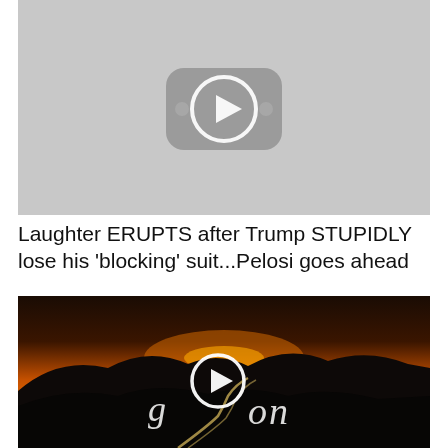[Figure (screenshot): Video thumbnail with YouTube-style play button icon on gray background]
Laughter ERUPTS after Trump STUPIDLY lose his 'blocking' suit...Pelosi goes ahead
[Figure (screenshot): Video thumbnail showing a sunset landscape with hills and winding road with light trails, with a circular play button overlay and stylized 'gaon' text]